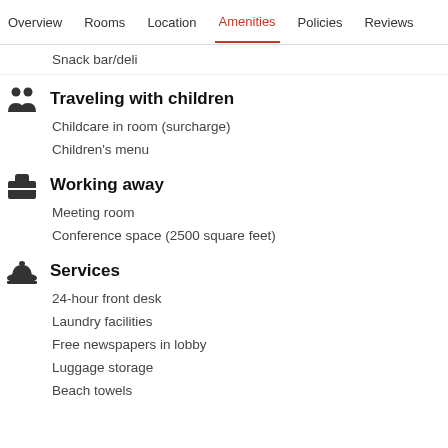Overview  Rooms  Location  Amenities  Policies  Reviews
Snack bar/deli
Traveling with children
Childcare in room (surcharge)
Children's menu
Working away
Meeting room
Conference space (2500 square feet)
Services
24-hour front desk
Laundry facilities
Free newspapers in lobby
Luggage storage
Beach towels